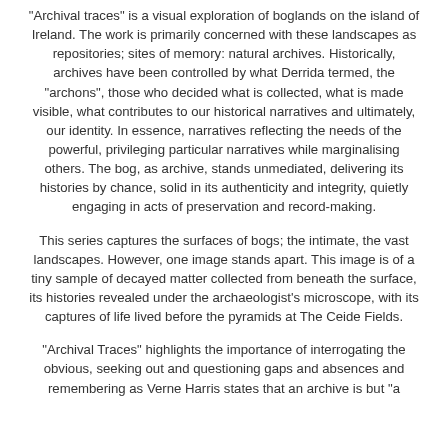“Archival traces” is a visual exploration of boglands on the island of Ireland.  The work is primarily concerned with these landscapes as repositories; sites of memory: natural archives.  Historically, archives have been controlled by what Derrida termed, the “archons”, those who decided what is collected, what is made visible, what contributes to our historical narratives and ultimately, our identity.  In essence, narratives reflecting the needs of the powerful, privileging particular narratives while marginalising others.  The bog, as archive, stands unmediated, delivering its histories by chance, solid in its authenticity and integrity, quietly engaging in acts of preservation and record-making.
This series captures the surfaces of bogs; the intimate, the vast landscapes.  However, one image stands apart.  This image is of a tiny sample of decayed matter collected from beneath the surface, its histories revealed under the archaeologist’s microscope, with its captures of life lived before the pyramids at The Ceide Fields.
“Archival Traces” highlights the importance of interrogating the obvious, seeking out and questioning gaps and absences and remembering as Verne Harris states that an archive is but “a